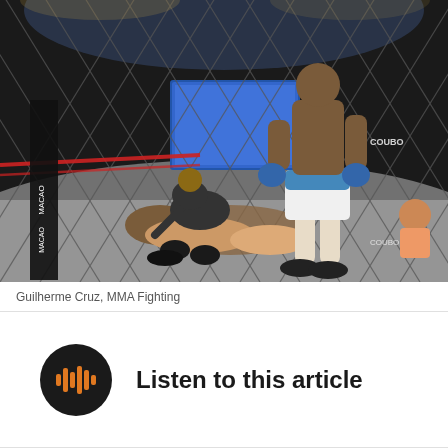[Figure (photo): MMA fight scene inside a chain-link cage/octagon. A fighter in blue and white shorts stands while a referee crouches over a downed fighter on the mat. The cage fence is visible in the foreground creating a diamond grid pattern. Arena lighting and a screen are visible in the background.]
Guilherme Cruz, MMA Fighting
Listen to this article